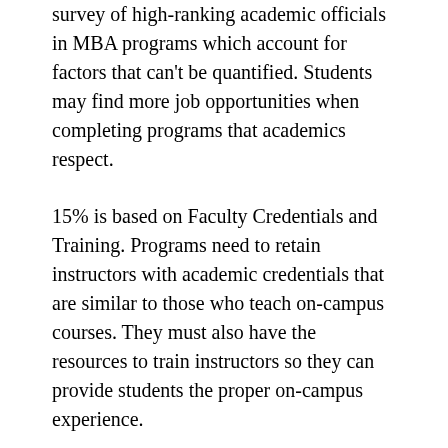survey of high-ranking academic officials in MBA programs which account for factors that can't be quantified. Students may find more job opportunities when completing programs that academics respect.
15% is based on Faculty Credentials and Training. Programs need to retain instructors with academic credentials that are similar to those who teach on-campus courses. They must also have the resources to train instructors so they can provide students the proper on-campus experience.
Another 15% is based on Student Excellence. This looks at the outcomes of coursework and final